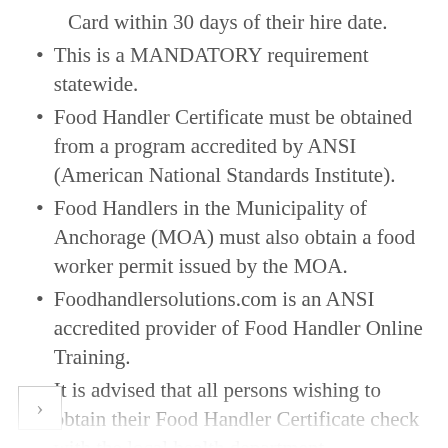Card within 30 days of their hire date.
This is a MANDATORY requirement statewide.
Food Handler Certificate must be obtained from a program accredited by ANSI (American National Standards Institute).
Food Handlers in the Municipality of Anchorage (MOA) must also obtain a food worker permit issued by the MOA.
Foodhandlersolutions.com is an ANSI accredited provider of Food Handler Online Training.
It is advised that all persons wishing to obtain their Food Handler Certificate check with the local health department for any additional requirements.